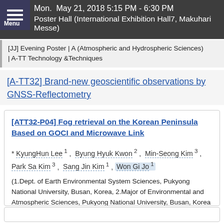Mon. May 21, 2018 5:15 PM - 6:30 PM
Poster Hall (International Exhibition Hall7, Makuhari Messe)
[JJ] Evening Poster | A (Atmospheric and Hydrospheric Sciences) | A-TT Technology &Techniques
[A-TT32] Brand-new geoscientific observations by GNSS-Reflectometry
[ATT32-P04] Fog retrieval on the Korean Peninsula Based on GOCI and Microwave Link
* KyungHun Lee 1, Byung Hyuk Kwon 2, Min-Seong Kim 3, Park Sa Kim 3, Sang Jin Kim 1, Won Gi Jo 1
(1.Dept. of Earth Environmental System Sciences, Pukyong National University, Busan, Korea, 2.Major of Environmental and Atmospheric Sciences, Pukyong National University, Busan, Korea , 3.Geo-Sciences Institute, Pukyong National University, Busan, Korea)